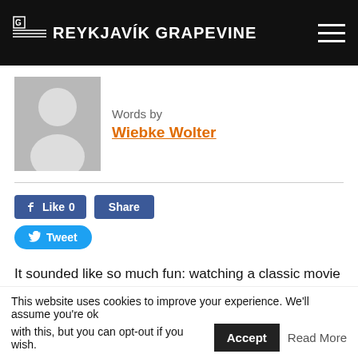THE REYKJAVÍK GRAPEVINE
Words by
Wiebke Wolter
[Figure (illustration): Gray placeholder avatar image showing a silhouette of a person]
It sounded like so much fun: watching a classic movie while splashing about in Sundhöllin, Reykjavík's oldest swimming pool. After waiting in the drizzling rain outside the pool, we were invited inside by a bunch of young girls, dressed up in Fifties beach clothes, shaking their hips next to an inflatable palm tree – that was as tropical
This website uses cookies to improve your experience. We'll assume you're ok with this, but you can opt-out if you wish.